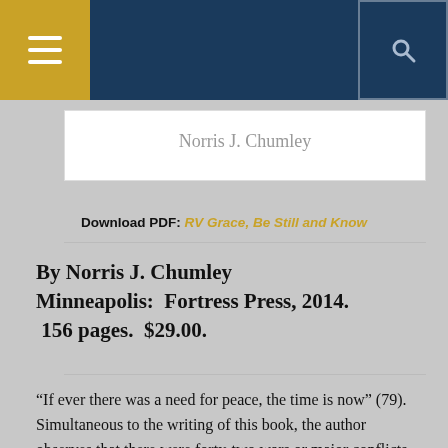Navigation bar with menu and search
Norris J. Chumley
Download PDF: RV Grace, Be Still and Know
By Norris J. Chumley Minneapolis:  Fortress Press, 2014.  156 pages.  $29.00.
“If ever there was a need for peace, the time is now” (79). Simultaneous to the writing of this book, the author observes that there were forty-two wars or major conflicts churning in